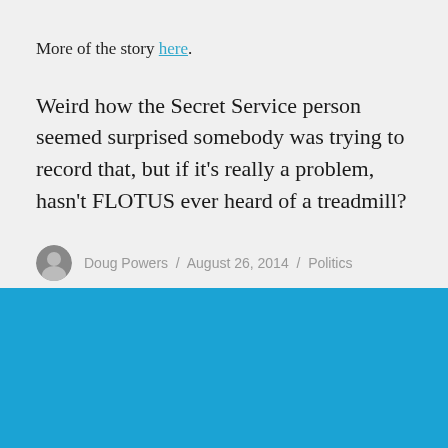More of the story here.
Weird how the Secret Service person seemed surprised somebody was trying to record that, but if it's really a problem, hasn't FLOTUS ever heard of a treadmill?
Doug Powers / August 26, 2014 / Politics
[Figure (illustration): Solid blue rectangle forming the bottom section of the page]